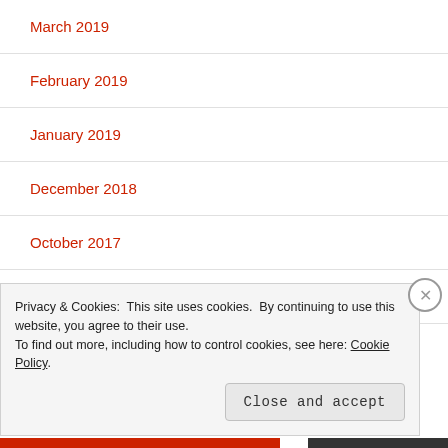March 2019
February 2019
January 2019
December 2018
October 2017
September 2017
August 2017
Privacy & Cookies: This site uses cookies. By continuing to use this website, you agree to their use. To find out more, including how to control cookies, see here: Cookie Policy
Close and accept